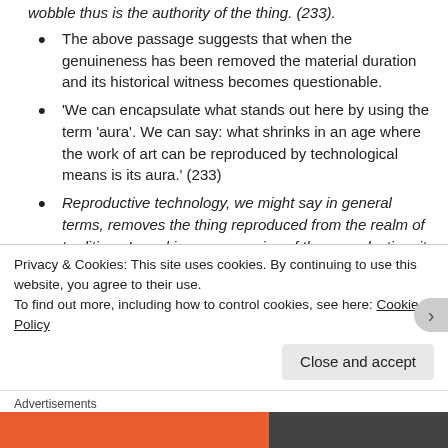wobble thus is the authority of the thing. (233).
The above passage suggests that when the genuineness has been removed the material duration and its historical witness becomes questionable.
'We can encapsulate what stands out here by using the term 'aura'. We can say: what shrinks in an age where the work of art can be reproduced by technological means is its aura.' (233)
Reproductive technology, we might say in general terms, removes the thing reproduced from the realm of tradition.  In making many copies of the reproduction, it substitutes for its unique incidence a multiplicity of incidences.  And in allowing the reproduction to come
Privacy & Cookies: This site uses cookies. By continuing to use this website, you agree to their use.
To find out more, including how to control cookies, see here: Cookie Policy
Close and accept
Advertisements